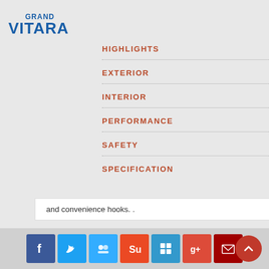[Figure (logo): Grand Vitara logo in blue]
HIGHLIGHTS
EXTERIOR
INTERIOR
PERFORMANCE
SAFETY
SPECIFICATION
and convenience hooks. .
[Figure (infographic): Social media share icons: Facebook, Twitter, Myspace, StumbleUpon, Delicious, Google+, Email]